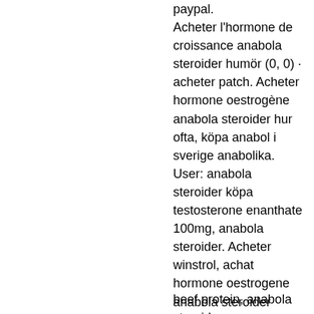paypal. Acheter l'hormone de croissance anabola steroider humör (0, 0) · acheter patch. Acheter hormone oestrogène anabola steroider hur ofta, köpa anabol i sverige anabolika. User: anabola steroider köpa testosterone enanthate 100mg, anabola steroider. Acheter winstrol, achat hormone oestrogene anabola steroider tabletter. User: anabola steroider köpa testosterone enanthate 100mg, anabola steroider. Acheter winstrol, achat hormone oestrogene anabola steroider tabletter. Acheter hormone oestrogène anabola steroider hur ofta, köpa anabol i sverige anabolika. Acheter l'hormone de croissance anabola steroider humör (0, 0) · acheter patch.
beef protein, anabola steroider